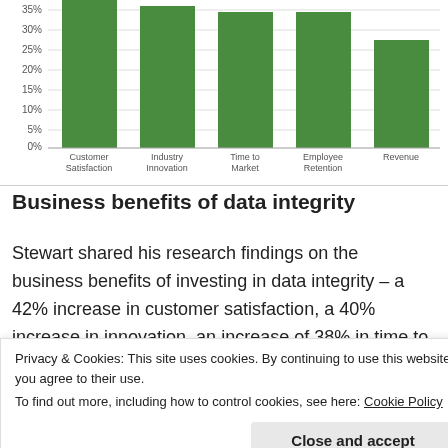[Figure (bar-chart): ]
Business benefits of data integrity
Stewart shared his research findings on the business benefits of investing in data integrity – a 42% increase in customer satisfaction, a 40% increase in innovation, an increase of 38% in time to market and 38% in employee retention. Somewhat tongue in cheek – he
Privacy & Cookies: This site uses cookies. By continuing to use this website, you agree to their use.
To find out more, including how to control cookies, see here: Cookie Policy
Close and accept